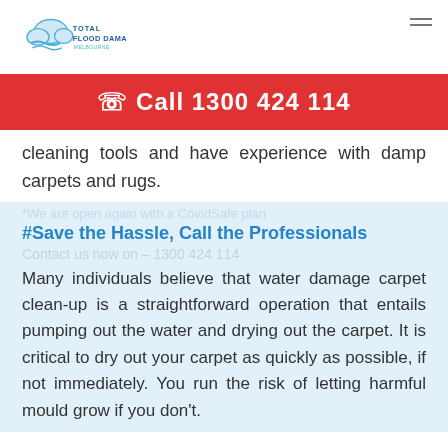[Figure (logo): Total Flood Damage Melbourne logo with cloud and water wave graphic]
Call 1300 424 114
cleaning tools and have experience with damp carpets and rugs.
#Save the Hassle, Call the Professionals
Many individuals believe that water damage carpet clean-up is a straightforward operation that entails pumping out the water and drying out the carpet. It is critical to dry out your carpet as quickly as possible, if not immediately. You run the risk of letting harmful mould grow if you don't.